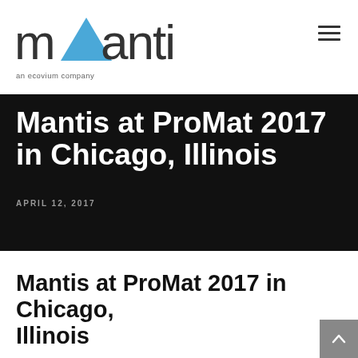mantis an ecovium company
Mantis at ProMat 2017 in Chicago, Illinois
APRIL 12, 2017
Mantis at ProMat 2017 in Chicago, Illinois